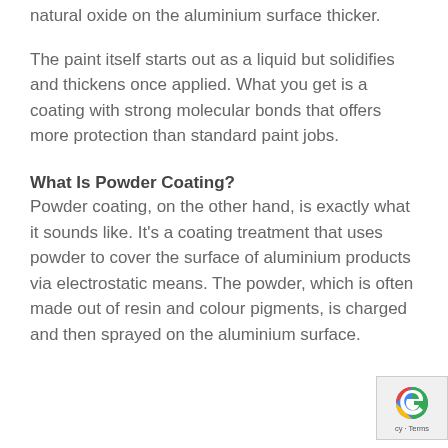natural oxide on the aluminium surface thicker.
The paint itself starts out as a liquid but solidifies and thickens once applied. What you get is a coating with strong molecular bonds that offers more protection than standard paint jobs.
What Is Powder Coating?
Powder coating, on the other hand, is exactly what it sounds like. It's a coating treatment that uses powder to cover the surface of aluminium products via electrostatic means. The powder, which is often made out of resin and colour pigments, is charged and then sprayed on the aluminium surface.
[Figure (logo): reCAPTCHA badge with partial 'cy - Terms' text visible]